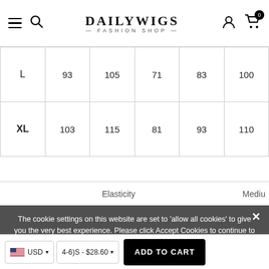DAILYWIGS — FASHION SHOP
|  |  |  |  |  |  |
| --- | --- | --- | --- | --- | --- |
| L | 93 | 105 | 71 | 83 | 100 |
| XL | 103 | 115 | 81 | 93 | 110 |
Elasticity    Mediu
The cookie settings on this website are set to 'allow all cookies' to give you the very best experience. Please click Accept Cookies to continue to use the site.
Note:
USD   4-6)S - $28.60   ADD TO CART